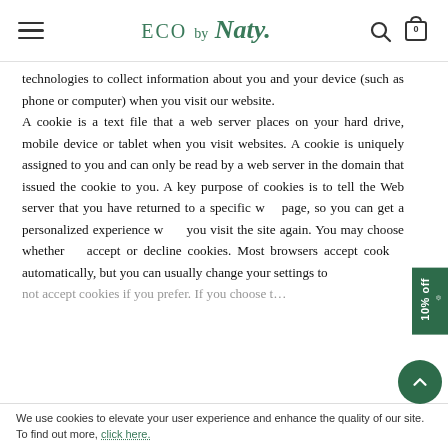ECO by Naty.
technologies to collect information about you and your device (such as phone or computer) when you visit our website.
A cookie is a text file that a web server places on your hard drive, mobile device or tablet when you visit websites. A cookie is uniquely assigned to you and can only be read by a web server in the domain that issued the cookie to you. A key purpose of cookies is to tell the Web server that you have returned to a specific web page, so you can get a personalized experience when you visit the site again. You may choose whether to accept or decline cookies. Most browsers accept cookies automatically, but you can usually change your settings to not accept cookies if you prefer. If you choose to...
We use cookies to elevate your user experience and enhance the quality of our site. To find out more, click here.